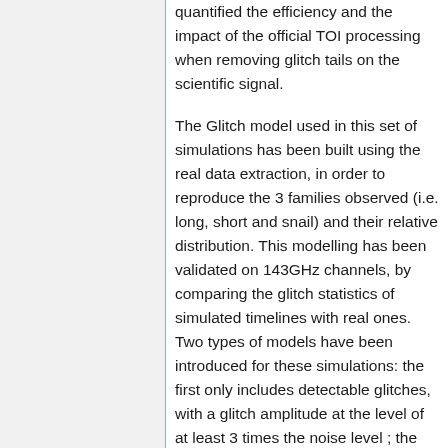quantified the efficiency and the impact of the official TOI processing when removing glitch tails on the scientific signal.
The Glitch model used in this set of simulations has been built using the real data extraction, in order to reproduce the 3 families observed (i.e. long, short and snail) and their relative distribution. This modelling has been validated on 143GHz channels, by comparing the glitch statistics of simulated timelines with real ones. Two types of models have been introduced for these simulations: the first only includes detectable glitches, with a glitch amplitude at the level of at least 3 times the noise level ; the second model also includes undetectable glitches until a level of 0.3 times the noise level.